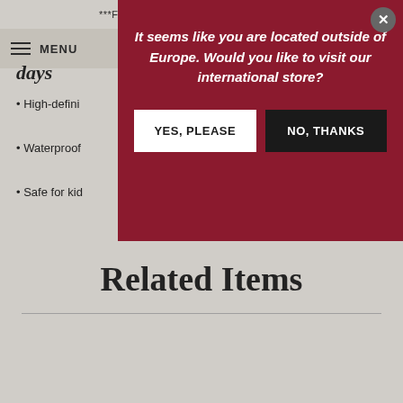***FRE...
≡ MENU
days
• High-defini...
• Waterproof
• Safe for kid...
[Figure (screenshot): Modal dialog with dark red background asking 'It seems like you are located outside of Europe. Would you like to visit our international store?' with YES, PLEASE (white button) and NO, THANKS (black button) options, and an X close button in the top right corner.]
Related Items